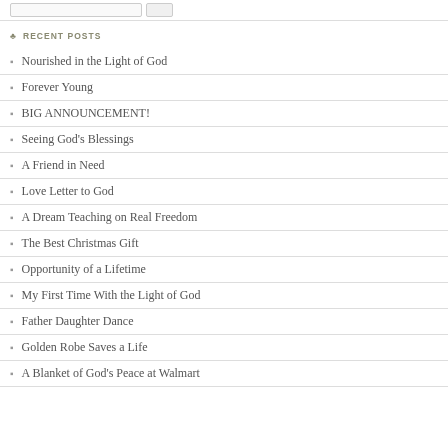RECENT POSTS
Nourished in the Light of God
Forever Young
BIG ANNOUNCEMENT!
Seeing God’s Blessings
A Friend in Need
Love Letter to God
A Dream Teaching on Real Freedom
The Best Christmas Gift
Opportunity of a Lifetime
My First Time With the Light of God
Father Daughter Dance
Golden Robe Saves a Life
A Blanket of God’s Peace at Walmart